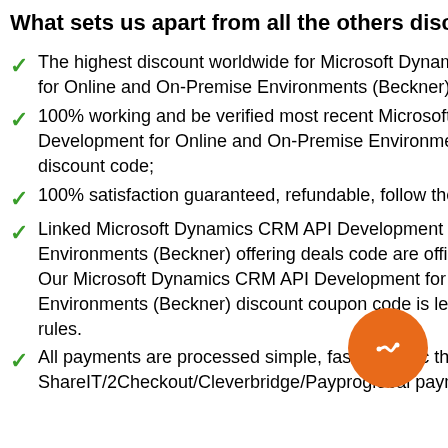What sets us apart from all the others discount si
The highest discount worldwide for Microsoft Dynamics C for Online and On-Premise Environments (Beckner), wee
100% working and be verified most recent Microsoft Dyna Development for Online and On-Premise Environments (B discount code;
100% satisfaction guaranteed, refundable, follow the Apre
Linked Microsoft Dynamics CRM API Development for On Environments (Beckner) offering deals code are official lin Our Microsoft Dynamics CRM API Development for Online Environments (Beckner) discount coupon code is legit and rules.
All payments are processed simple, fast, and sec thr ShareIT/2Checkout/Cleverbridge/Payproglobal payment g